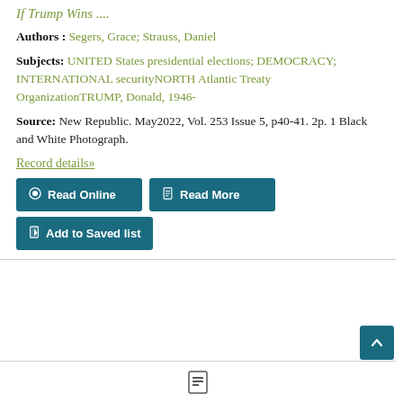If Trump Wins ....
Authors : Segers, Grace; Strauss, Daniel
Subjects: UNITED States presidential elections; DEMOCRACY; INTERNATIONAL securityNORTH Atlantic Treaty OrganizationTRUMP, Donald, 1946-
Source: New Republic. May2022, Vol. 253 Issue 5, p40-41. 2p. 1 Black and White Photograph.
Record details»
Read Online
Read More
Add to Saved list